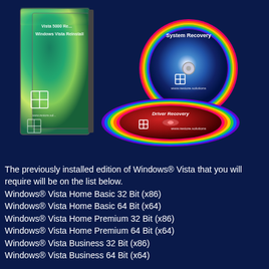[Figure (photo): Product image showing Windows Vista reinstall DVD case open with System Recovery disc visible, and a Driver Recovery DVD disc laying flat below. Both discs show rainbow iridescent edges and the restore.solutions branding.]
The previously installed edition of Windows® Vista that you will require will be on the list below. Windows® Vista Home Basic 32 Bit (x86) Windows® Vista Home Basic 64 Bit (x64) Windows® Vista Home Premium 32 Bit (x86) Windows® Vista Home Premium 64 Bit (x64) Windows® Vista Business 32 Bit (x86) Windows® Vista Business 64 Bit (x64)